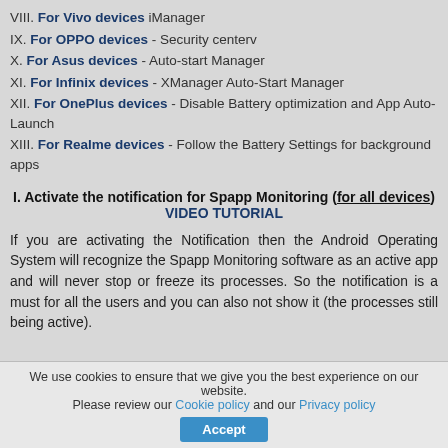VIII. For Vivo devices iManager
IX. For OPPO devices - Security centerv
X. For Asus devices - Auto-start Manager
XI. For Infinix devices - XManager Auto-Start Manager
XII. For OnePlus devices - Disable Battery optimization and App Auto-Launch
XIII. For Realme devices - Follow the Battery Settings for background apps
I. Activate the notification for Spapp Monitoring (for all devices) VIDEO TUTORIAL
If you are activating the Notification then the Android Operating System will recognize the Spapp Monitoring software as an active app and will never stop or freeze its processes. So the notification is a must for all the users and you can also not show it (the processes still being active).
We use cookies to ensure that we give you the best experience on our website. Please review our Cookie policy and our Privacy policy Accept